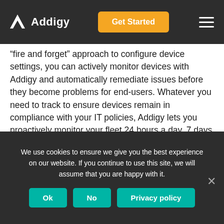Addigy | Get Started
“fire and forget” approach to configure device settings, you can actively monitor devices with Addigy and automatically remediate issues before they become problems for end-users. Whatever you need to track to ensure devices remain in compliance with your IT policies, Addigy lets you proactively monitor your fleet 24 hours a day, 7 days a week.
In addition to the dozens of built-in monitors that Addigy includes out-of-the-box, the Addigy Community plays a crucial role in providing IT admins with additional monitors, scripts, and more that can be easily executed
We use cookies to ensure we give you the best experience on our website. If you continue to use this site, we will assume that you are happy with it.